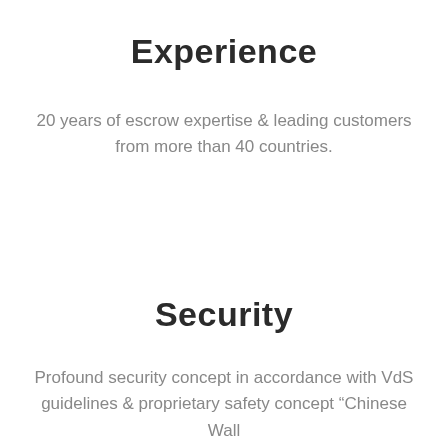Experience
20 years of escrow expertise & leading customers from more than 40 countries.
Security
Profound security concept in accordance with VdS guidelines & proprietary safety concept “Chinese Wall of Escrow”.